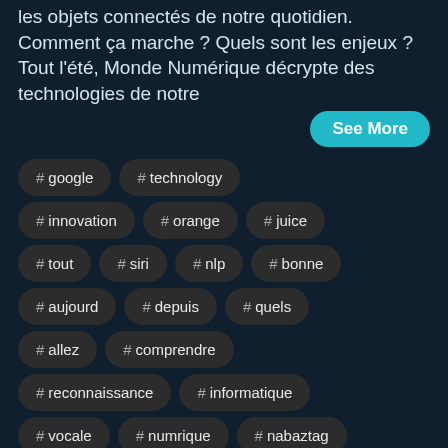les objets connectés de notre quotidien. Comment ça marche ? Quels sont les enjeux ? Tout l'été, Monde Numérique décrypte des technologies de notre
See More
# google
# technology
# innovation
# orange
# juice
# tout
# siri
# nlp
# bonne
# aujourd
# depuis
# quels
# allez
# comprendre
# reconnaissance
# informatique
# vocale
# numrique
# nabaztag